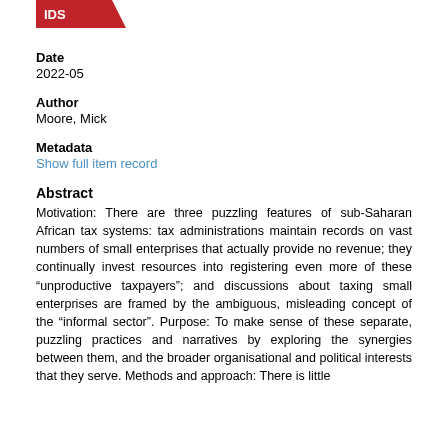[Figure (logo): Red triangular logo/banner in top left corner]
Date
2022-05
Author
Moore, Mick
Metadata
Show full item record
Abstract
Motivation: There are three puzzling features of sub-Saharan African tax systems: tax administrations maintain records on vast numbers of small enterprises that actually provide no revenue; they continually invest resources into registering even more of these “unproductive taxpayers”; and discussions about taxing small enterprises are framed by the ambiguous, misleading concept of the “informal sector”. Purpose: To make sense of these separate, puzzling practices and narratives by exploring the synergies between them, and the broader organisational and political interests that they serve. Methods and approach: There is little